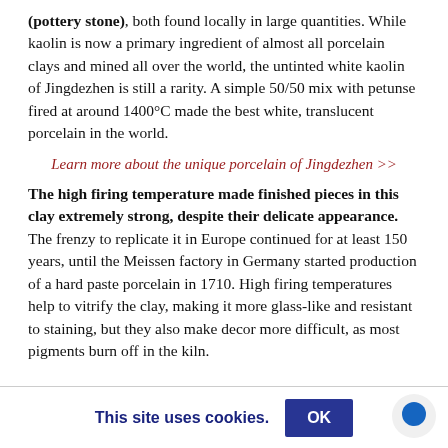(pottery stone), both found locally in large quantities. While kaolin is now a primary ingredient of almost all porcelain clays and mined all over the world, the untinted white kaolin of Jingdezhen is still a rarity. A simple 50/50 mix with petunse fired at around 1400°C made the best white, translucent porcelain in the world.
Learn more about the unique porcelain of Jingdezhen >>
The high firing temperature made finished pieces in this clay extremely strong, despite their delicate appearance. The frenzy to replicate it in Europe continued for at least 150 years, until the Meissen factory in Germany started production of a hard paste porcelain in 1710. High firing temperatures help to vitrify the clay, making it more glass-like and resistant to staining, but they also make decor more difficult, as most pigments burn off in the kiln.
This site uses cookies.